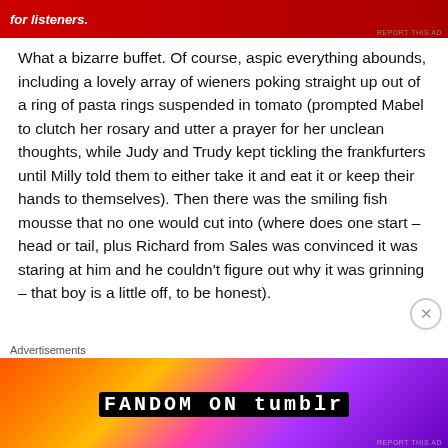[Figure (other): Red advertisement banner at top with white italic text 'for listeners.' and a device image on the right, with 'REPORT THIS AD' text in bottom right corner]
What a bizarre buffet. Of course, aspic everything abounds, including a lovely array of wieners poking straight up out of a ring of pasta rings suspended in tomato (prompted Mabel to clutch her rosary and utter a prayer for her unclean thoughts, while Judy and Trudy kept tickling the frankfurters until Milly told them to either take it and eat it or keep their hands to themselves). Then there was the smiling fish mousse that no one would cut into (where does one start – head or tail, plus Richard from Sales was convinced it was staring at him and he couldn't figure out why it was grinning – that boy is a little off, to be honest).
Advertisements
[Figure (other): Colorful Fandom on Tumblr advertisement banner with orange to purple gradient background and white bold text 'FANDOM ON tumblr']